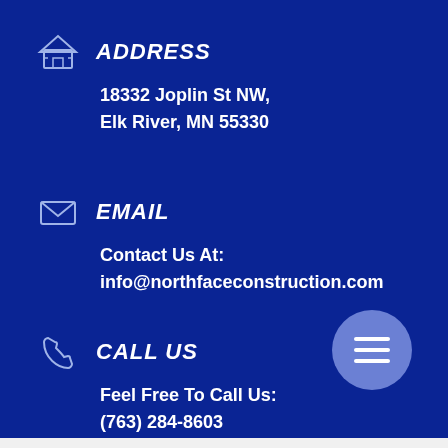ADDRESS
18332 Joplin St NW,
Elk River, MN 55330
EMAIL
Contact Us At:
info@northfaceconstruction.com
CALL US
Feel Free To Call Us:
(763) 284-8603